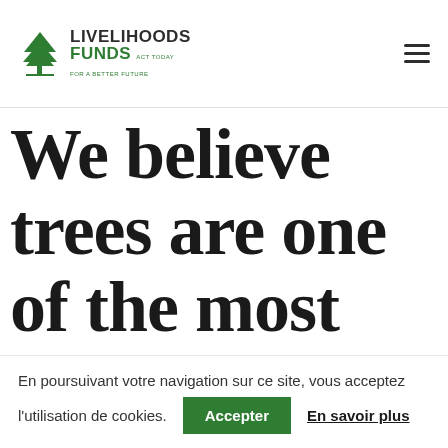LIVELIHOODS FUNDS ACT TODAY FOR A BETTER FUTURE
We believe trees are one of the most powerful tools we have to address global warming both for mitigation and adaptation
En poursuivant votre navigation sur ce site, vous acceptez l'utilisation de cookies.
Accepter
En savoir plus